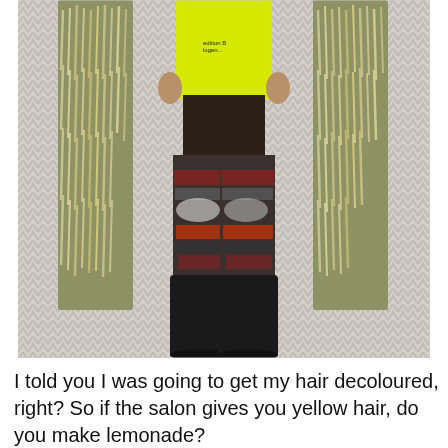[Figure (photo): A person standing against a chevron/herringbone patterned wallpaper background. They wear a neon yellow top, a shaggy green/cream fringed coat/vest, patterned leggings with colorful graphic prints, and black ankle boots.]
I told you I was going to get my hair decoloured, right? So if the salon gives you yellow hair, do you make lemonade?